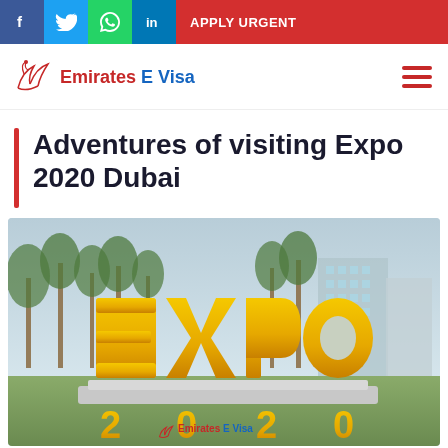f  Twitter  WhatsApp  in  APPLY URGENT
[Figure (logo): Emirates E Visa logo with bird icon and hamburger menu]
Adventures of visiting Expo 2020 Dubai
[Figure (photo): Large EXPO 2020 gold 3D letter sign in an outdoor plaza with palm trees and modern buildings in the background. Emirates E Visa watermark at the bottom center.]